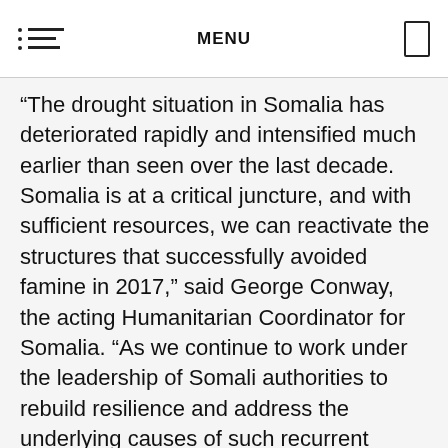MENU
“The drought situation in Somalia has deteriorated rapidly and intensified much earlier than seen over the last decade. Somalia is at a critical juncture, and with sufficient resources, we can reactivate the structures that successfully avoided famine in 2017,” said George Conway, the acting Humanitarian Coordinator for Somalia. “As we continue to work under the leadership of Somali authorities to rebuild resilience and address the underlying causes of such recurrent crises, it is now critical that everyone, including donors, the private sector, Somalis in-country and in the diaspora, rallies behind these collective response and prevention efforts,” he added